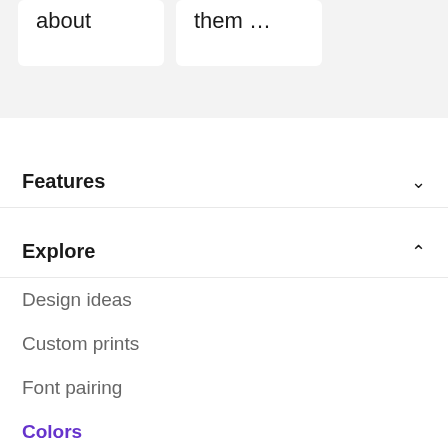[Figure (screenshot): Two white card elements with text 'about' and 'them …' on a light gray background, partially visible at the top of the page]
Features
Explore
Design ideas
Custom prints
Font pairing
Colors
Color wheel